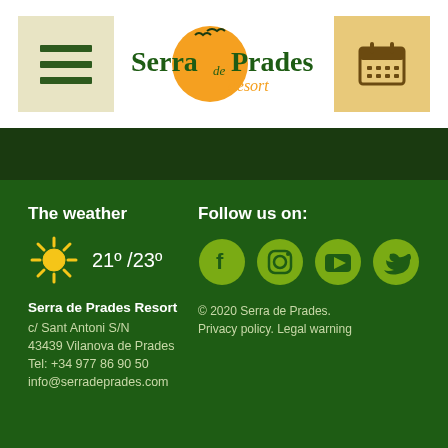[Figure (logo): Serra de Prades Resort logo - orange circle with bird silhouettes, green serif text 'Serrade Prades' and orange script 'Resort']
[Figure (infographic): Navigation header with hamburger menu button on left, calendar icon on right]
The weather
[Figure (infographic): Sun icon with temperature 21° /23°]
Serra de Prades Resort
c/ Sant Antoni S/N
43439 Vilanova de Prades
Tel: +34 977 86 90 50
info@serradeprades.com
Follow us on:
[Figure (infographic): Social media icons: Facebook, Instagram, YouTube, Twitter - all in olive/yellow-green circles]
© 2020 Serra de Prades.
Privacy policy. Legal warning